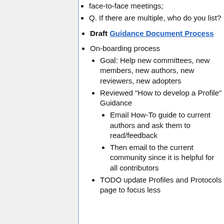face-to-face meetings;
Q. If there are multiple, who do you list?
Draft Guidance Document Process
On-boarding process
Goal: Help new committees, new members, new authors, new reviewers, new adopters
Reviewed "How to develop a Profile" Guidance
Email How-To guide to current authors and ask them to read/feedback
Then email to the current community since it is helpful for all contributors
TODO update Profiles and Protocols page to focus less